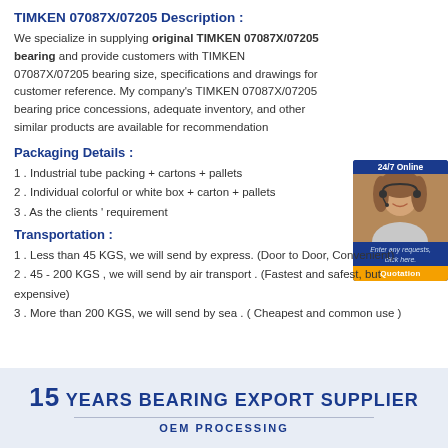TIMKEN 07087X/07205 Description :
We specialize in supplying original TIMKEN 07087X/07205 bearing and provide customers with TIMKEN 07087X/07205 bearing size, specifications and drawings for customer reference. My company's TIMKEN 07087X/07205 bearing price concessions, adequate inventory, and other similar products are available for recommendation
[Figure (photo): Customer service representative with headset, 24/7 Online badge, with text 'Enter any requests, click here.' and orange Quotation button]
Packaging Details :
1 . Industrial tube packing + cartons + pallets
2 . Individual colorful or white box + carton + pallets
3 . As the clients ' requirement
Transportation :
1 . Less than 45 KGS, we will send by express. (Door to Door, Convenient)
2 . 45 - 200 KGS , we will send by air transport . (Fastest and safest, but expensive)
3 . More than 200 KGS, we will send by sea . ( Cheapest and common use )
[Figure (infographic): Light blue banner: '15 YEARS BEARING EXPORT SUPPLIER' with 'OEM PROCESSING' subtitle]